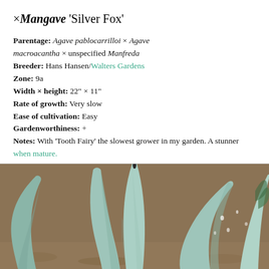×Mangave 'Silver Fox'
Parentage: Agave pablocarrilloi × Agave macroacantha × unspecified Manfreda
Breeder: Hans Hansen/Walters Gardens
Zone: 9a
Width × height: 22" × 11"
Rate of growth: Very slow
Ease of cultivation: Easy
Gardenworthiness: +
Notes: With 'Tooth Fairy' the slowest grower in my garden. A stunner when mature.
[Figure (photo): Close-up photo of Mangave 'Silver Fox' plant showing silvery-blue succulent leaves with pointed tips and serrated edges, set against a mulched garden background.]